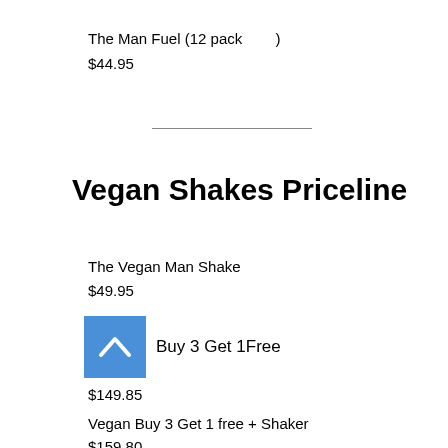The Man Fuel (12 pack   )
$44.95
Vegan Shakes Priceline
The Vegan Man Shake
$49.95
Buy 3 Get 1Free
$149.85
Vegan Buy 3 Get 1 free + Shaker
$159.80